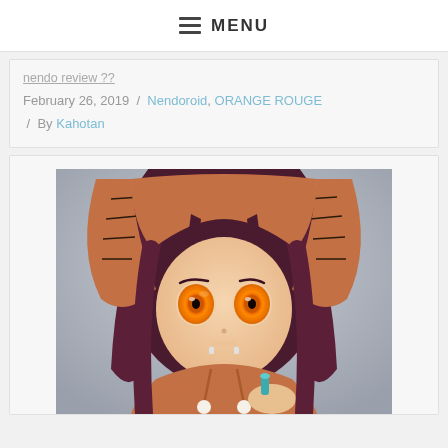MENU
February 26, 2019 / Nendoroid, ORANGE ROUGE / By Kahotan
[Figure (photo): Close-up photo of a Nendoroid figure with purple hair, orange-brown rabbit hood, orange eyes with circular pupils, and a teal bottle accessory. The figure is set against a blurred grey background.]